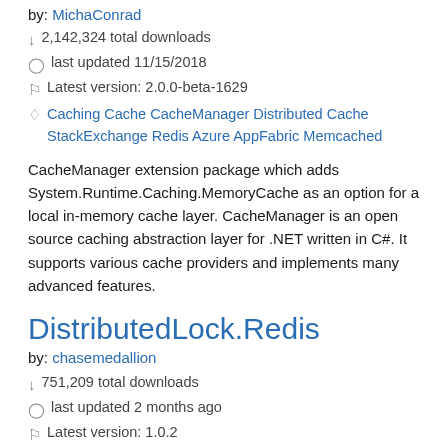by: MichaConrad
↓ 2,142,324 total downloads
last updated 11/15/2018
Latest version: 2.0.0-beta-1629
Caching Cache CacheManager Distributed Cache StackExchange Redis Azure AppFabric Memcached
CacheManager extension package which adds System.Runtime.Caching.MemoryCache as an option for a local in-memory cache layer. CacheManager is an open source caching abstraction layer for .NET written in C#. It supports various cache providers and implements many advanced features.
DistributedLock.Redis
by: chasemedallion
↓ 751,209 total downloads
last updated 2 months ago
Latest version: 1.0.2
distributed redis lock redlock